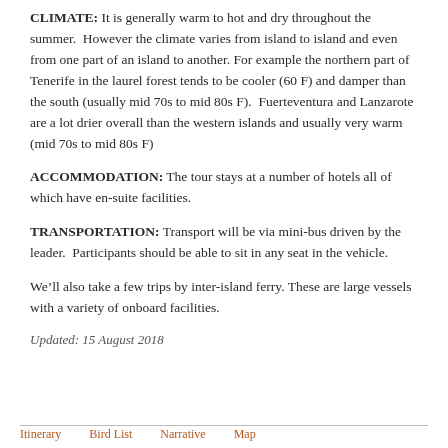CLIMATE: It is generally warm to hot and dry throughout the summer. However the climate varies from island to island and even from one part of an island to another. For example the northern part of Tenerife in the laurel forest tends to be cooler (60 F) and damper than the south (usually mid 70s to mid 80s F). Fuerteventura and Lanzarote are a lot drier overall than the western islands and usually very warm (mid 70s to mid 80s F)
ACCOMMODATION: The tour stays at a number of hotels all of which have en-suite facilities.
TRANSPORTATION: Transport will be via mini-bus driven by the leader. Participants should be able to sit in any seat in the vehicle.
We’ll also take a few trips by inter-island ferry. These are large vessels with a variety of onboard facilities.
Updated: 15 August 2018
Itinerary   Bird List   Narrative   Map